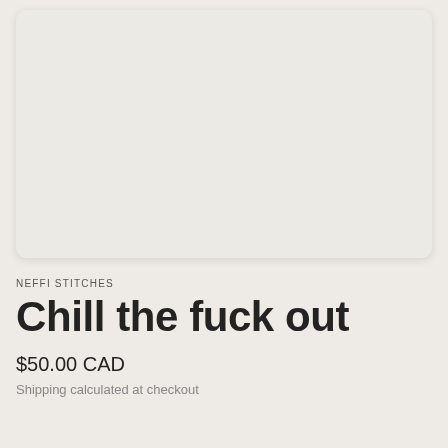[Figure (photo): Product image placeholder area - a rounded rectangle card with light beige/off-white background, representing a product photo area for an embroidery or craft item]
NEFFI STITCHES
Chill the fuck out
$50.00 CAD
Shipping calculated at checkout